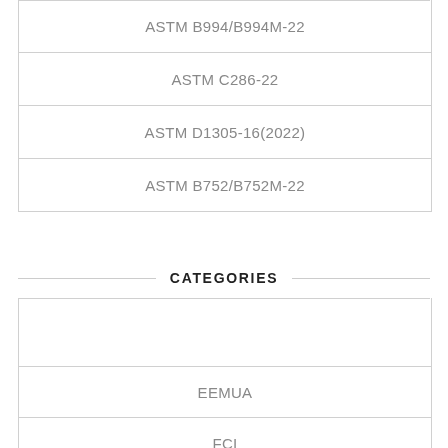ASTM B994/B994M-22
ASTM C286-22
ASTM D1305-16(2022)
ASTM B752/B752M-22
CATEGORIES
EEMUA
FCI
HI